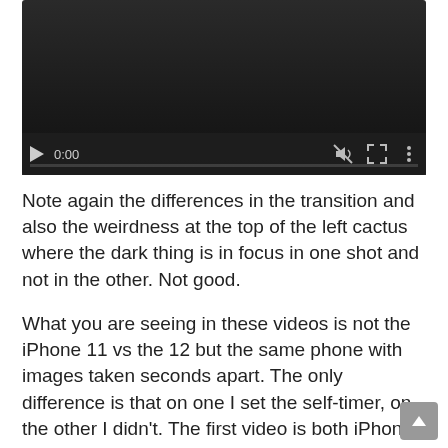[Figure (screenshot): Video player showing a dark/black video frame with playback controls at the bottom: play button, time display showing 0:00, mute icon, fullscreen icon, options icon, and a progress bar.]
Note again the differences in the transition and also the weirdness at the top of the left cactus where the dark thing is in focus in one shot and not in the other. Not good.
What you are seeing in these videos is not the iPhone 11 vs the 12 but the same phone with images taken seconds apart. The only difference is that on one I set the self-timer, on the other I didn't. The first video is both iPhone 11 images, the second video is two iPhone 12 images.
Portrait mode and its faux-keh seem to be highly